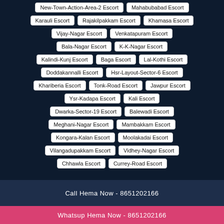New-Town-Action-Area-2 Escort
Mahabubabad Escort
Karauli Escort
Rajakilpakkam Escort
Khamasa Escort
Vijay-Nagar Escort
Venkatapuram Escort
Bala-Nagar Escort
K-K-Nagar Escort
Kalindi-Kunj Escort
Baga Escort
Lal-Kothi Escort
Doddakannalli Escort
Hsr-Layout-Sector-6 Escort
Khariberia Escort
Tonk-Road Escort
Jawpur Escort
Ysr-Kadapa Escort
Kali Escort
Dwarka-Sector-19 Escort
Balewadi Escort
Meghani-Nagar Escort
Mambakkam Escort
Kongara-Kalan Escort
Moolakadai Escort
Vilangadupakkam Escort
Vidhey-Nagar Escort
Chhawla Escort
Currey-Road Escort
Call Hema Now - 8651202166
Whatsup Hema Now - 8651202166